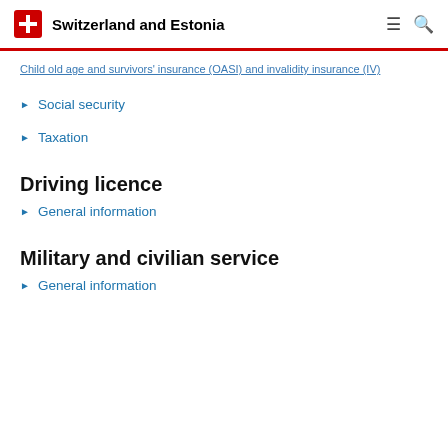Switzerland and Estonia
Child old age and survivors' insurance (OASI) and invalidity insurance (IV)
Social security
Taxation
Driving licence
General information
Military and civilian service
General information